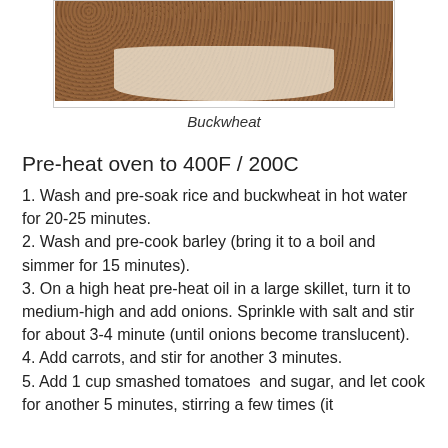[Figure (photo): Photo of buckwheat grains in a white bowl, cropped at top]
Buckwheat
Pre-heat oven to 400F / 200C
1. Wash and pre-soak rice and buckwheat in hot water for 20-25 minutes.
2. Wash and pre-cook barley (bring it to a boil and simmer for 15 minutes).
3. On a high heat pre-heat oil in a large skillet, turn it to medium-high and add onions. Sprinkle with salt and stir for about 3-4 minute (until onions become translucent).
4. Add carrots, and stir for another 3 minutes.
5. Add 1 cup smashed tomatoes  and sugar, and let cook for another 5 minutes, stirring a few times (it